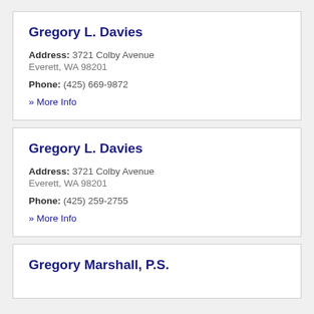Gregory L. Davies
Address: 3721 Colby Avenue
Everett, WA 98201
Phone: (425) 669-9872
» More Info
Gregory L. Davies
Address: 3721 Colby Avenue
Everett, WA 98201
Phone: (425) 259-2755
» More Info
Gregory Marshall, P.S.